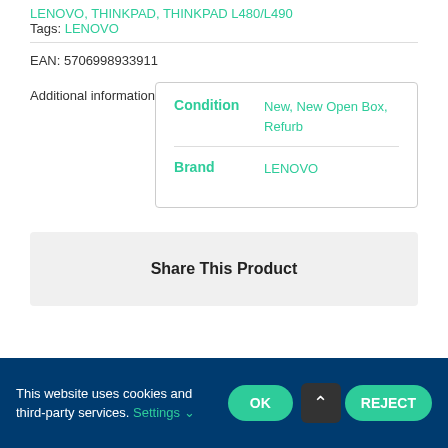LENOVO, THINKPAD, THINKPAD L480/L490 Tags: LENOVO
EAN: 5706998933911
|  |  |
| --- | --- |
| Condition | New, New Open Box, Refurb |
| Brand | LENOVO |
Share This Product
This website uses cookies and third-party services. Settings